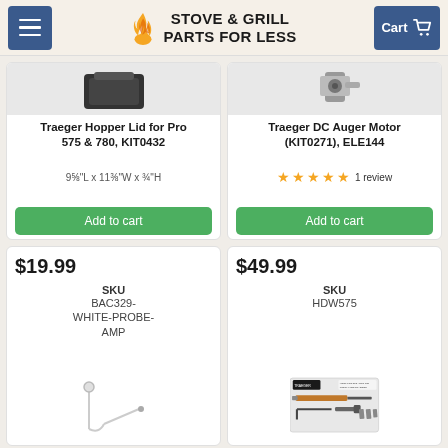STOVE & GRILL PARTS FOR LESS
Traeger Hopper Lid for Pro 575 & 780, KIT0432
9⅝"L x 11⅜"W x ¾"H
Add to cart
Traeger DC Auger Motor (KIT0271), ELE144
★★★★★ 1 review
Add to cart
$19.99
SKU
BAC329-WHITE-PROBE-AMP
$49.99
SKU
HDW575